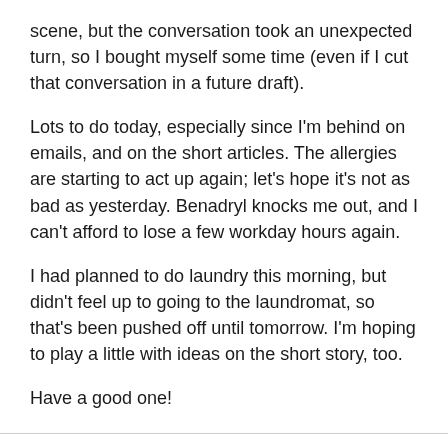scene, but the conversation took an unexpected turn, so I bought myself some time (even if I cut that conversation in a future draft).
Lots to do today, especially since I'm behind on emails, and on the short articles. The allergies are starting to act up again; let's hope it's not as bad as yesterday. Benadryl knocks me out, and I can't afford to lose a few workday hours again.
I had planned to do laundry this morning, but didn't feel up to going to the laundromat, so that's been pushed off until tomorrow. I'm hoping to play a little with ideas on the short story, too.
Have a good one!